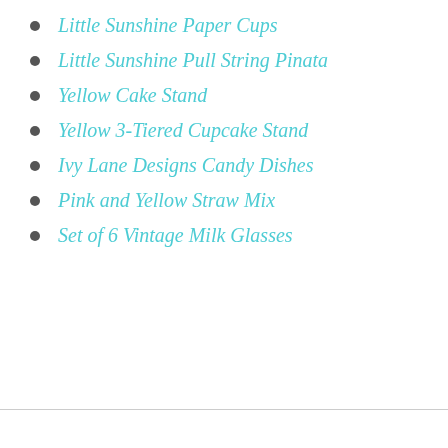Little Sunshine Paper Cups
Little Sunshine Pull String Pinata
Yellow Cake Stand
Yellow 3-Tiered Cupcake Stand
Ivy Lane Designs Candy Dishes
Pink and Yellow Straw Mix
Set of 6 Vintage Milk Glasses